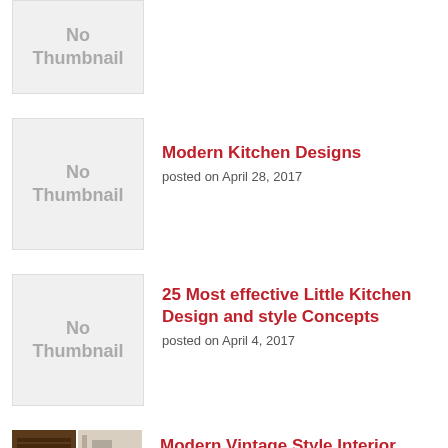[Figure (other): No Thumbnail placeholder box (partially visible at top)]
[Figure (other): No Thumbnail placeholder box]
Modern Kitchen Designs
posted on April 28, 2017
[Figure (other): No Thumbnail placeholder box]
25 Most effective Little Kitchen Design and style Concepts
posted on April 4, 2017
[Figure (photo): Photo collage showing vintage interior design rooms with fireplace and shelving]
Modern Vintage Style Interior Design
posted on April 5, 2021